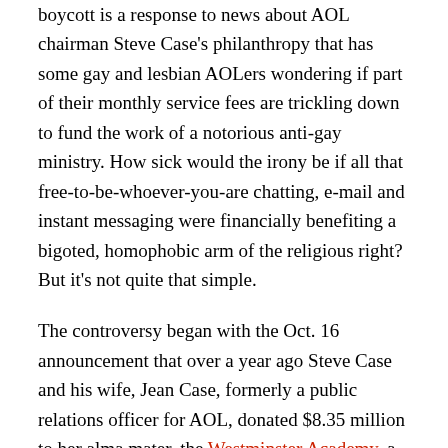boycott is a response to news about AOL chairman Steve Case's philanthropy that has some gay and lesbian AOLers wondering if part of their monthly service fees are trickling down to fund the work of a notorious anti-gay ministry. How sick would the irony be if all that free-to-be-whoever-you-are chatting, e-mail and instant messaging were financially benefiting a bigoted, homophobic arm of the religious right? But it's not quite that simple.
The controversy began with the Oct. 16 announcement that over a year ago Steve Case and his wife, Jean Case, formerly a public relations officer for AOL, donated $8.35 million to her alma mater, the Westminster Academy, a religious school in Fort Lauderdale, Fla. It was seemingly the most innocuous